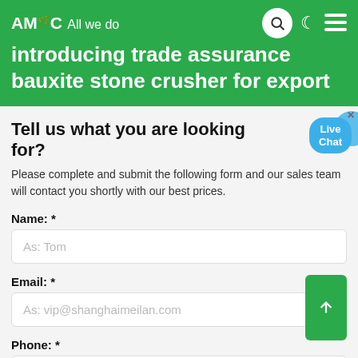AMC — All we do | introducing trade assurance bauxite stone crusher for export
introducing trade assurance bauxite stone crusher for export
Tell us what you are looking for?
Please complete and submit the following form and our sales team will contact you shortly with our best prices.
Name: *
As: Tom
Email: *
As: vip@shanghaimeilan.com
Phone: *
With Country Code